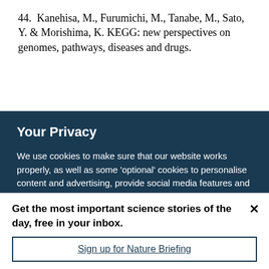44. Kanehisa, M., Furumichi, M., Tanabe, M., Sato, Y. & Morishima, K. KEGG: new perspectives on genomes, pathways, diseases and drugs.
Your Privacy
We use cookies to make sure that our website works properly, as well as some 'optional' cookies to personalise content and advertising, provide social media features and analyse how people use our site. By accepting some or all optional cookies you give consent to the processing of your personal data, including transfer to third parties, some in countries outside of the European Economic Area that do not offer the same data protection standards as the country where you live. You can decide which optional cookies to accept by clicking on 'Manage Settings', where you can
Get the most important science stories of the day, free in your inbox.
Sign up for Nature Briefing